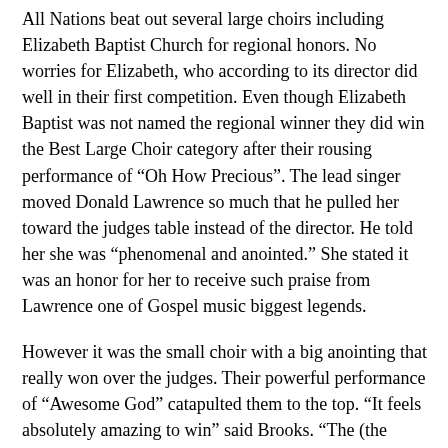All Nations beat out several large choirs including Elizabeth Baptist Church for regional honors. No worries for Elizabeth, who according to its director did well in their first competition. Even though Elizabeth Baptist was not named the regional winner they did win the Best Large Choir category after their rousing performance of “Oh How Precious”. The lead singer moved Donald Lawrence so much that he pulled her toward the judges table instead of the director. He told her she was “phenomenal and anointed.” She stated it was an honor for her to receive such praise from Lawrence one of Gospel music biggest legends.
However it was the small choir with a big anointing that really won over the judges. Their powerful performance of “Awesome God” catapulted them to the top. “It feels absolutely amazing to win” said Brooks. “The (the choir) worked really hard and kept up with everything in addition to what we do every Sunday at church” he added.
Now the choir moves on to the final competition in Washington and they are excited to represent Atlanta. “We just want people to get that whole experience of worship and praise when they hear our music” said Brooks.
The last prize of the night went to Anointed Voices Choir who picked up the VCast People Choice Award after their spirited